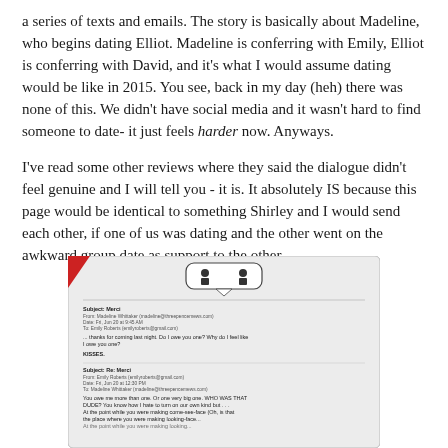a series of texts and emails. The story is basically about Madeline, who begins dating Elliot. Madeline is conferring with Emily, Elliot is conferring with David, and it's what I would assume dating would be like in 2015. You see, back in my day (heh) there was none of this. We didn't have social media and it wasn't hard to find someone to date- it just feels harder now. Anyways.
I've read some other reviews where they said the dialogue didn't feel genuine and I will tell you - it is. It absolutely IS because this page would be identical to something Shirley and I would send each other, if one of us was dating and the other went on the awkward group date as support to the other.
[Figure (photo): A photograph of a book page showing two email exchanges. The page has a small chat bubble icon with two figures at the top. First email: Subject: Merci, from Madeline Whittaker, to Emily Roberts, dated Fri Jun 20 at 9:45 AM. Body: '...thanks for coming last night. Do I owe you one? Why do I feel like I owe you one? KISSES.' Second email: Subject: Re: Merci, from Emily Roberts to Madeline Whittaker, dated Fri Jun 20 at 12:30 PM. Body: 'You owe me more than one. Or one very big one. WHO WAS THAT DUDE? You know how I hate to turn on our own kind but... At the point while you were making come-see-face (Oh, is that the place where you were making looking-face... (?)']